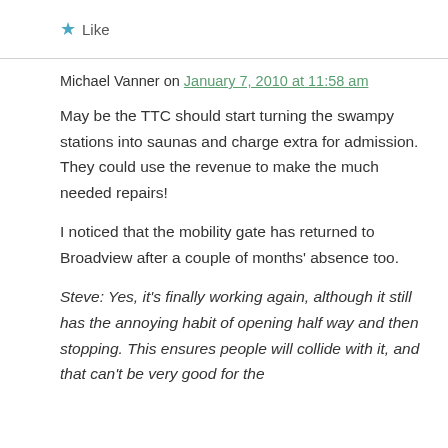★ Like
Michael Vanner on January 7, 2010 at 11:58 am
May be the TTC should start turning the swampy stations into saunas and charge extra for admission. They could use the revenue to make the much needed repairs!
I noticed that the mobility gate has returned to Broadview after a couple of months' absence too.
Steve: Yes, it's finally working again, although it still has the annoying habit of opening half way and then stopping. This ensures people will collide with it, and that can't be very good for the